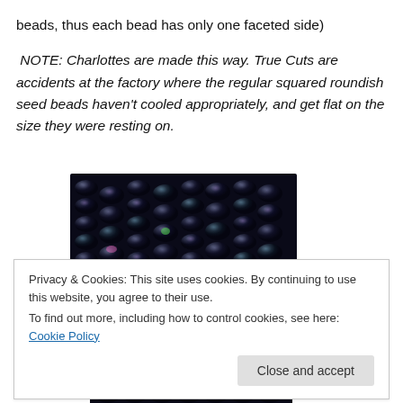beads, thus each bead has only one faceted side) NOTE: Charlottes are made this way. True Cuts are accidents at the factory where the regular squared roundish seed beads haven’t cooled appropriately, and get flat on the size they were resting on.
[Figure (photo): Close-up photograph of dark iridescent seed beads arranged in columns, showing their rounded surfaces with light reflections creating multicolored sheen on dark (near-black) beads.]
Privacy & Cookies: This site uses cookies. By continuing to use this website, you agree to their use.
To find out more, including how to control cookies, see here: Cookie Policy
Close and accept
[Figure (photo): Partial bottom strip showing another row of dark beads, cropped.]